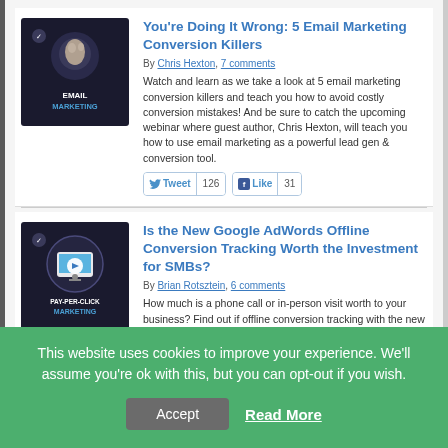[Figure (screenshot): Thumbnail image for Email Marketing article — dark background with circular portrait and text EMAIL MARKETING]
You're Doing It Wrong: 5 Email Marketing Conversion Killers
By Chris Hexton, 7 comments
Watch and learn as we take a look at 5 email marketing conversion killers and teach you how to avoid costly conversion mistakes! And be sure to catch the upcoming webinar where guest author, Chris Hexton, will teach you how to use email marketing as a powerful lead gen & conversion tool.
Tweet 126  Like 31
[Figure (screenshot): Thumbnail image for Pay-Per-Click Marketing article — dark background with monitor icon and text PAY-PER-CLICK MARKETING]
Is the New Google AdWords Offline Conversion Tracking Worth the Investment for SMBs?
By Brian Rotsztein, 6 comments
How much is a phone call or in-person visit worth to your business? Find out if offline conversion tracking with the new 'AdWords Conversion Import' is right for you.
This website uses cookies to improve your experience. We'll assume you're ok with this, but you can opt-out if you wish.
Accept   Read More